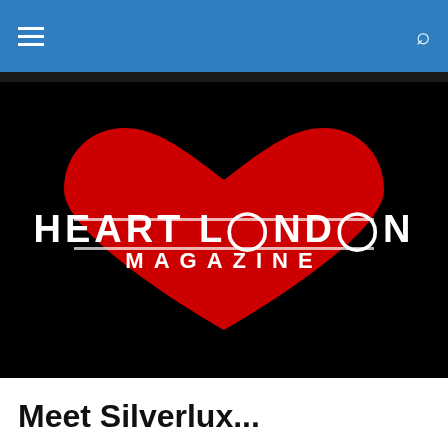Heart London Magazine - navigation bar with hamburger menu and search icon
[Figure (logo): Heart London Magazine logo: large red heart shape on black background with white text 'HEART LONDON MAGAZINE' overlaid across the center of the heart, with London Eye motifs replacing the O letters]
Meet Silverlux...